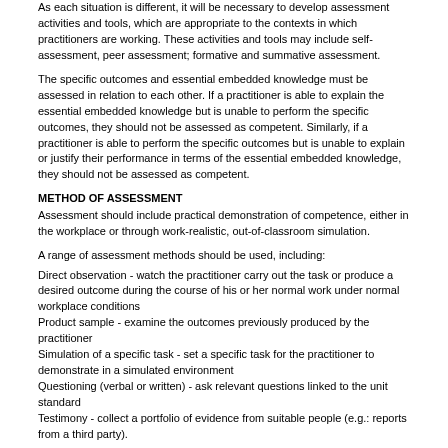As each situation is different, it will be necessary to develop assessment activities and tools, which are appropriate to the contexts in which practitioners are working. These activities and tools may include self-assessment, peer assessment; formative and summative assessment.
The specific outcomes and essential embedded knowledge must be assessed in relation to each other. If a practitioner is able to explain the essential embedded knowledge but is unable to perform the specific outcomes, they should not be assessed as competent. Similarly, if a practitioner is able to perform the specific outcomes but is unable to explain or justify their performance in terms of the essential embedded knowledge, they should not be assessed as competent.
METHOD OF ASSESSMENT
Assessment should include practical demonstration of competence, either in the workplace or through work-realistic, out-of-classroom simulation.
A range of assessment methods should be used, including:
Direct observation - watch the practitioner carry out the task or produce a desired outcome during the course of his or her normal work under normal workplace conditions
Product sample - examine the outcomes previously produced by the practitioner
Simulation of a specific task - set a specific task for the practitioner to demonstrate in a simulated environment
Questioning (verbal or written) - ask relevant questions linked to the unit standard
Testimony - collect a portfolio of evidence from suitable people (e.g.: reports from a third party).
Integrated assessment
It may be more effective and efficient to assess a number of unit standards